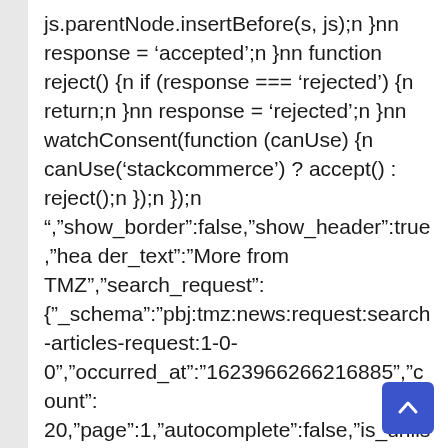js.parentNode.insertBefore(s, js);n }nn response = 'accepted';n }nn function reject() {n if (response === 'rejected') {n return;n }nn response = 'rejected';n }nn watchConsent(function (canUse) {n canUse('stackcommerce') ? accept() : reject();n });n });n ","show_border":false,"show_header":true,"header_text":"More from TMZ","search_request":{"_schema":"pbj:tmz:news:request:search-articles-request:1-0-0","occurred_at":"1623966266216885","count":20,"page":1,"autocomplete":false,"is_unlisted":0,"is_locked":0,"sort":"order-date-desc"},"show_pagination":false,"show_item_cta_text":false,"show_item_date":true,"show_item_duration":false,"show_item_excerpt":false,"sho